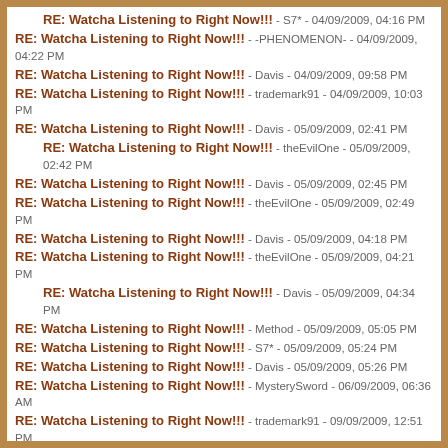RE: Watcha Listening to Right Now!!! - S7* - 04/09/2009, 04:16 PM
RE: Watcha Listening to Right Now!!! - -PHENOMENON- - 04/09/2009, 04:22 PM
RE: Watcha Listening to Right Now!!! - Davis - 04/09/2009, 09:58 PM
RE: Watcha Listening to Right Now!!! - trademark91 - 04/09/2009, 10:03 PM
RE: Watcha Listening to Right Now!!! - Davis - 05/09/2009, 02:41 PM
RE: Watcha Listening to Right Now!!! - theEvilOne - 05/09/2009, 02:42 PM
RE: Watcha Listening to Right Now!!! - Davis - 05/09/2009, 02:45 PM
RE: Watcha Listening to Right Now!!! - theEvilOne - 05/09/2009, 02:49 PM
RE: Watcha Listening to Right Now!!! - Davis - 05/09/2009, 04:18 PM
RE: Watcha Listening to Right Now!!! - theEvilOne - 05/09/2009, 04:21 PM
RE: Watcha Listening to Right Now!!! - Davis - 05/09/2009, 04:34 PM
RE: Watcha Listening to Right Now!!! - Method - 05/09/2009, 05:05 PM
RE: Watcha Listening to Right Now!!! - S7* - 05/09/2009, 05:24 PM
RE: Watcha Listening to Right Now!!! - Davis - 05/09/2009, 05:26 PM
RE: Watcha Listening to Right Now!!! - MysterySword - 06/09/2009, 06:36 AM
RE: Watcha Listening to Right Now!!! - trademark91 - 09/09/2009, 12:51 PM
RE: Watcha Listening to Right Now!!! - Davis - 09/09/2009, 02:18 PM